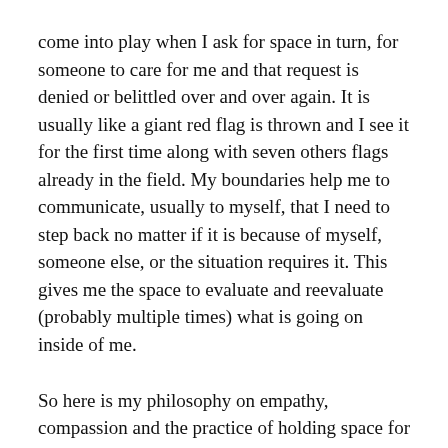come into play when I ask for space in turn, for someone to care for me and that request is denied or belittled over and over again. It is usually like a giant red flag is thrown and I see it for the first time along with seven others flags already in the field. My boundaries help me to communicate, usually to myself, that I need to step back no matter if it is because of myself, someone else, or the situation requires it. This gives me the space to evaluate and reevaluate (probably multiple times) what is going on inside of me.
So here is my philosophy on empathy, compassion and the practice of holding space for people. We as people create an area for ourselves in our thoughts and the deepest parts of our soul where we ponder... cherish... protect those things that effect us the most whether positive or negative. We guard them, place boundaries around them. When we are overflowing with the bubbly feel goods, we naturally bring people into the joy to